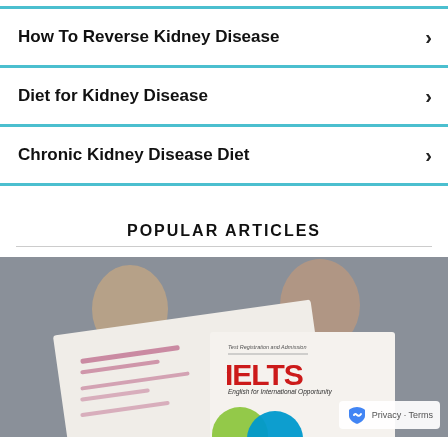How To Reverse Kidney Disease
Diet for Kidney Disease
Chronic Kidney Disease Diet
POPULAR ARTICLES
[Figure (photo): Two people holding an IELTS brochure/document in front of their faces, with colorful logo visible]